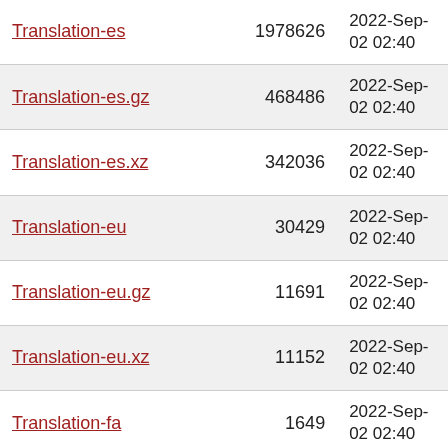| Name | Size | Date |
| --- | --- | --- |
| Translation-es | 1978626 | 2022-Sep-02 02:40 |
| Translation-es.gz | 468486 | 2022-Sep-02 02:40 |
| Translation-es.xz | 342036 | 2022-Sep-02 02:40 |
| Translation-eu | 30429 | 2022-Sep-02 02:40 |
| Translation-eu.gz | 11691 | 2022-Sep-02 02:40 |
| Translation-eu.xz | 11152 | 2022-Sep-02 02:40 |
| Translation-fa | 1649 | 2022-Sep-02 02:40 |
| Translation-fa.gz | 877 | 2022-Sep-02 02:40 |
| Translation-fa.xz | 924 | 2022-Sep-02 02:40 |
| Translation-fi | 531563 | 2022-Sep-02 02:40 |
| Translation-fi.gz | 114658 | 2022-Sep-02 02:40 |
| Translation-fi.xz | 91160 | 2022-Sep-02 02:40 |